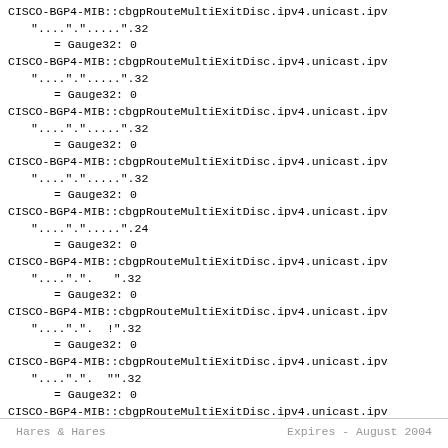CISCO-BGP4-MIB::cbgpRouteMultiExitDisc.ipv4.unicast.ipv... "....".".....32
= Gauge32: 0
CISCO-BGP4-MIB::cbgpRouteMultiExitDisc.ipv4.unicast.ipv... "....".".....32
= Gauge32: 0
CISCO-BGP4-MIB::cbgpRouteMultiExitDisc.ipv4.unicast.ipv... "....".".....32
= Gauge32: 0
CISCO-BGP4-MIB::cbgpRouteMultiExitDisc.ipv4.unicast.ipv... "....".".....32
= Gauge32: 0
CISCO-BGP4-MIB::cbgpRouteMultiExitDisc.ipv4.unicast.ipv... "....".".....24
= Gauge32: 0
CISCO-BGP4-MIB::cbgpRouteMultiExitDisc.ipv4.unicast.ipv... "...."."..... .32
= Gauge32: 0
CISCO-BGP4-MIB::cbgpRouteMultiExitDisc.ipv4.unicast.ipv... "....".".....!.32
= Gauge32: 0
CISCO-BGP4-MIB::cbgpRouteMultiExitDisc.ipv4.unicast.ipv... "...."."....."."".32
= Gauge32: 0
CISCO-BGP4-MIB::cbgpRouteMultiExitDisc.ipv4.unicast.ipv...
Hares & Hares                    Expires - August 2004